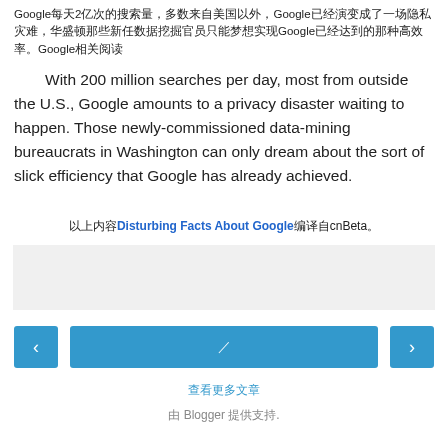Google每天2亿次的搜索量，多数来自美国以外，Google已经演变成了一场隐私灾难，华盛顿那些新任数据挖掘官员只能梦想实现Google已经达到的那种高效率。Google相关阅读
With 200 million searches per day, most from outside the U.S., Google amounts to a privacy disaster waiting to happen. Those newly-commissioned data-mining bureaucrats in Washington can only dream about the sort of slick efficiency that Google has already achieved.
以上内容Disturbing Facts About Google编译自cnBeta。
[Figure (other): Gray advertisement placeholder box]
‹  ／  ›  (navigation buttons)
查看更多文章
由 Blogger 提供支持.